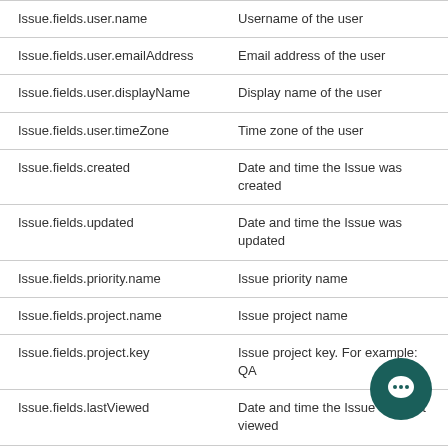|  |  |
| --- | --- |
| Issue.fields.user.name | Username of the user |
| Issue.fields.user.emailAddress | Email address of the user |
| Issue.fields.user.displayName | Display name of the user |
| Issue.fields.user.timeZone | Time zone of the user |
| Issue.fields.created | Date and time the Issue was created |
| Issue.fields.updated | Date and time the Issue was updated |
| Issue.fields.priority.name | Issue priority name |
| Issue.fields.project.name | Issue project name |
| Issue.fields.project.key | Issue project key. For example: QA |
| Issue.fields.lastViewed | Date and time the Issue was last viewed |
| Issue.fields.fixVersions.name | Name of the fix version/s* |
| Issue.fields.fixVersions.description | Description of the fix version/s* |